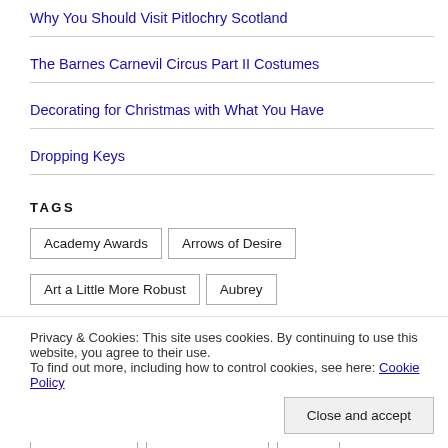Why You Should Visit Pitlochry Scotland
The Barnes Carnevil Circus Part II Costumes
Decorating for Christmas with What You Have
Dropping Keys
TAGS
Academy Awards
Arrows of Desire
Art a Little More Robust
Aubrey
Privacy & Cookies: This site uses cookies. By continuing to use this website, you agree to their use.
To find out more, including how to control cookies, see here: Cookie Policy
grandchildren
Healing Journey
health